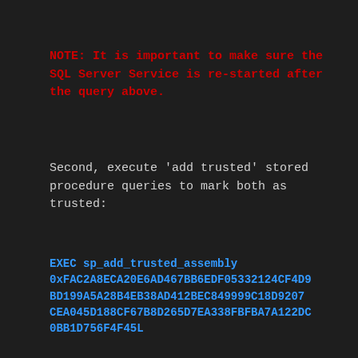NOTE: It is important to make sure the SQL Server Service is re-started after the query above.
Second, execute 'add trusted' stored procedure queries to mark both as trusted:
EXEC sp_add_trusted_assembly 0xFAC2A8ECA20E6AD467BB6EDF05332124CF4D9BD199A5A28B4EB38AD412BEC849999C18D9207CEA045D188CF67B8D265D7EA338FBFBA7A122DC0BB1D756F4F45L